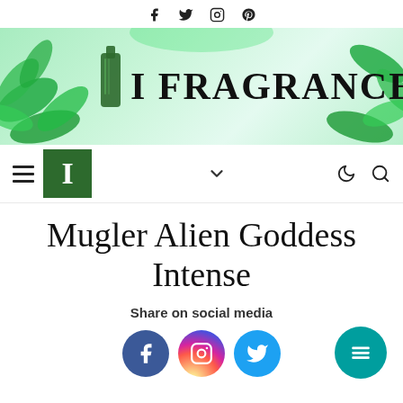Social media icons: Facebook, Twitter, Instagram, Pinterest
[Figure (logo): I Fragrance website banner with green leaves, bottle, and serif text 'I FRAGRANCE']
[Figure (infographic): Navigation bar with hamburger menu, green 'I' logo box, chevron dropdown, moon icon, and search icon]
Mugler Alien Goddess Intense
Share on social media
[Figure (infographic): Social media share icons: Facebook (blue), Instagram (gradient), Twitter (blue)]